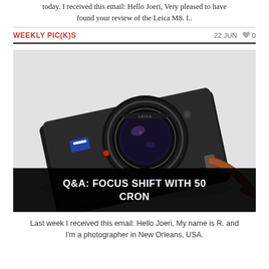today. I received this email: Hello Joeri, Very pleased to have found your review of the Leica M8. I..
WEEKLY PIC(K)S
22 JUN  ♥ 0
[Figure (photo): A black Leica camera with a 50mm Summicron lens and brown leather strap, photographed from above on a white background.]
Q&A: FOCUS SHIFT WITH 50 CRON
Last week I received this email: Hello Joeri, My name is R. and I'm a photographer in New Orleans, USA.